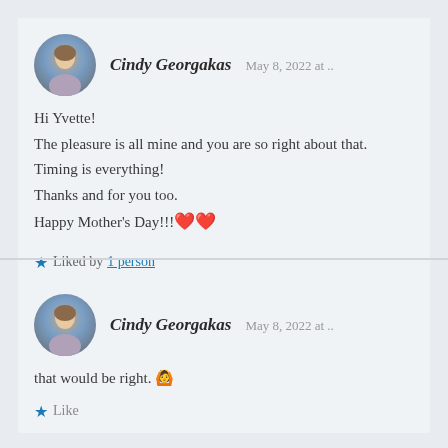Cindy Georgakas   May 8, 2022 at ..
Hi Yvette!
The pleasure is all mine and you are so right about that.
Timing is everything!
Thanks and for you too.
Happy Mother's Day!!!❤❤
★ Liked by 1 person
Cindy Georgakas   May 8, 2022 at ..
that would be right. 🙆
★ Like